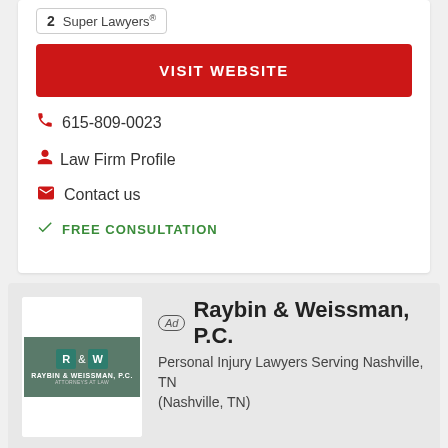2 Super Lawyers®
VISIT WEBSITE
615-809-0023
Law Firm Profile
Contact us
FREE CONSULTATION
Ad Raybin & Weissman, P.C.
Personal Injury Lawyers Serving Nashville, TN (Nashville, TN)
David Weissman is Top-Rated, Award-Winning Car Wreck & Personal Injury Lawyer of Nashville. Maximize Your Recovery $$$ Call Now!